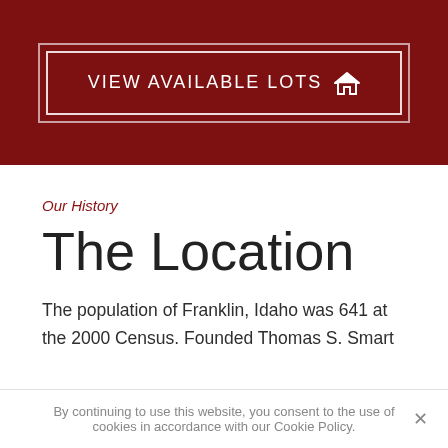[Figure (other): Dark red banner with a button labeled VIEW AVAILABLE LOTS with a house icon]
Our History
The Location
The population of Franklin, Idaho was 641 at the 2000 Census. Founded Thomas S. Smart
By continuing to use this website, you consent to the use of cookies in accordance with our Cookie Policy.